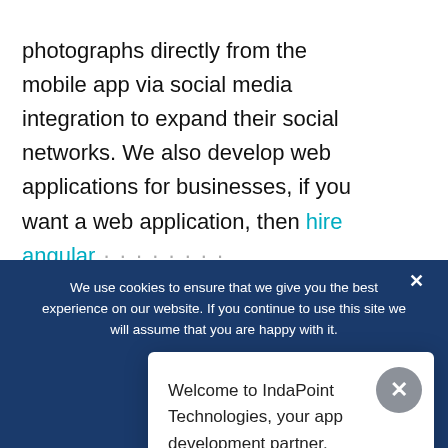customized ingredients and post photographs directly from the mobile app via social media integration to expand their social networks. We also develop web applications for businesses, if you want a web application, then hire angular [developers...]
6. Resta... AI
[Figure (screenshot): Chat widget popup with text: Welcome to IndaPoint Technologies, your app development partner. A close button (X) in grey circle top right. Cookie consent banner at bottom with teal OK button and avatar.]
Welcome to IndaPoint Technologies, your app development partner.
We use cookies to ensure that we give you the best experience on our website. If you continue to use this site we will assume that you are happy with it.